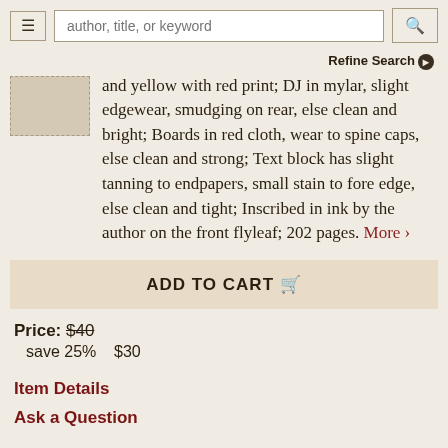author, title, or keyword | Refine Search
and yellow with red print; DJ in mylar, slight edgewear, smudging on rear, else clean and bright; Boards in red cloth, wear to spine caps, else clean and strong; Text block has slight tanning to endpapers, small stain to fore edge, else clean and tight; Inscribed in ink by the author on the front flyleaf; 202 pages. More >
ADD TO CART
Price: $40
save 25%   $30
Item Details
Ask a Question